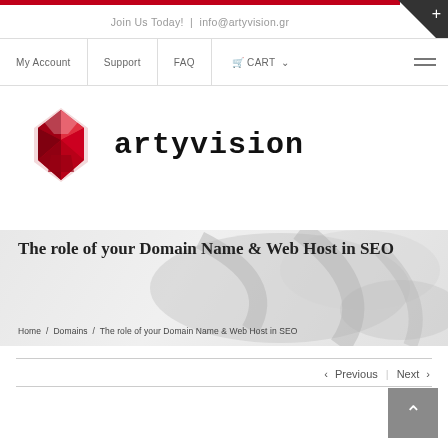Join Us Today! | info@artyvision.gr
My Account | Support | FAQ | CART
[Figure (logo): Artyvision logo: red gem/diamond icon with 'artyvision' text in bold monospace font]
The role of your Domain Name & Web Host in SEO
Home / Domains / The role of your Domain Name & Web Host in SEO
< Previous   Next >